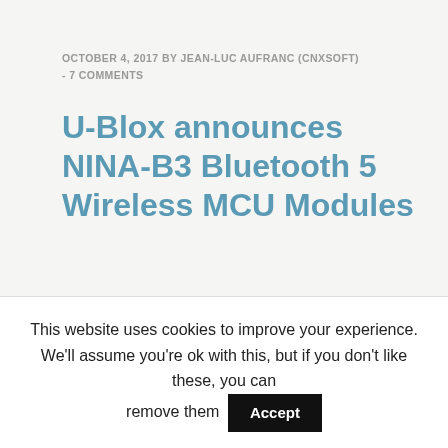OCTOBER 4, 2017 BY JEAN-LUC AUFRANC (CNXSOFT) - 7 COMMENTS
U-Blox announces NINA-B3 Bluetooth 5 Wireless MCU Modules
Bluetooth 5 promises to quadrupling the range and double the bandwidth of Bluetooth LE connection. However, we've seen not all Bluetooth 5 solutions will provide all features in a comparison between Nordic Semi nRF52840 vs nRF52832 vs nRF52810 Bluetooth 5 ready SoCs, as while all three platforms will handle the higher bandwidth
This website uses cookies to improve your experience. We'll assume you're ok with this, but if you don't like these, you can remove them  Accept